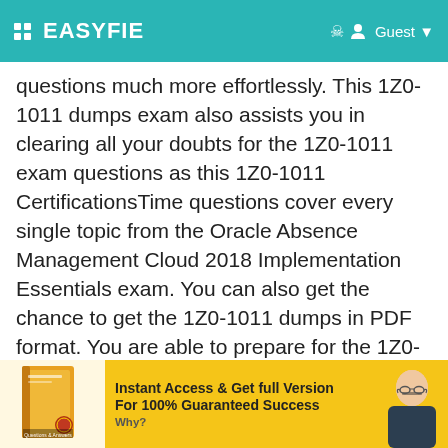EASYFIE  Guest
questions much more effortlessly. This 1Z0-1011 dumps exam also assists you in clearing all your doubts for the 1Z0-1011 exam questions as this 1Z0-1011 CertificationsTime questions cover every single topic from the Oracle Absence Management Cloud 2018 Implementation Essentials exam. You can also get the chance to get the 1Z0-1011 dumps in PDF format. You are able to prepare for the 1Z0-1011 exam questions in accordance with your personal timetable using the aid on the 1Z0-1011 pdf questions.
[Figure (infographic): Advertisement banner: product book image on left with gold cover and 'Questions & Answers' label, center text 'Instant Access & Get full Version For 100% Guaranteed Success Why?', man in glasses on right, yellow/gold background.]